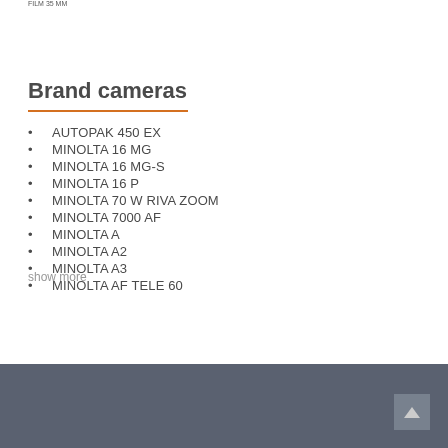FILM 35 MM
Brand cameras
AUTOPAK 450 EX
MINOLTA 16 MG
MINOLTA 16 MG-S
MINOLTA 16 P
MINOLTA 70 W RIVA ZOOM
MINOLTA 7000 AF
MINOLTA A
MINOLTA A2
MINOLTA A3
MINOLTA AF TELE 60
show more